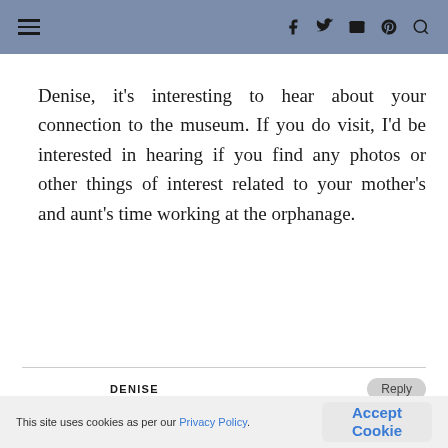navigation header with hamburger menu and social icons
Denise, it's interesting to hear about your connection to the museum. If you do visit, I'd be interested in hearing if you find any photos or other things of interest related to your mother's and aunt's time working at the orphanage.
DENISE
February 28, 2021 at 10:03 am
Hi Donna, I will certainly let you know.
This site uses cookies as per our Privacy Policy.
Accept Cookie